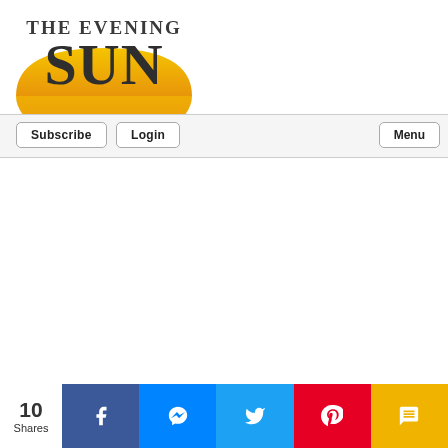[Figure (logo): The Evening Sun newspaper logo with large golden sun shape and bold serif text]
Subscribe | Login | Menu
10 Shares
[Figure (infographic): Social sharing bar with Facebook, Messenger, Twitter, Pinterest, and SMS buttons]